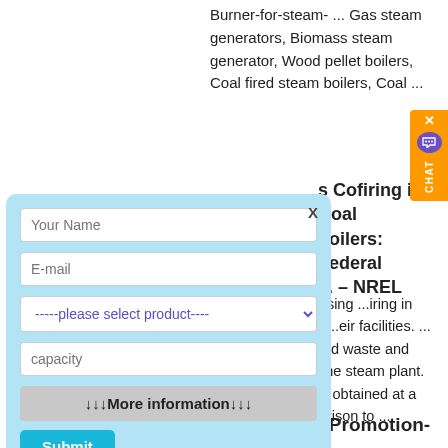Burner-for-steam- ... Gas steam generators, Biomass steam generator, Wood pellet boilers, Coal fired steam boilers, Coal ...
[Figure (screenshot): Orange chat widget on right side with purple speech bubble and vertical 'CHAT' label and X close button]
Biomass Cofiring in Coal Boilers: Federal ... – NREL
...ecisions about using ...iring in existing coal-fired ...eir facilities. ... fuel sources— ...ood waste and waste paper ...at the steam plant. Steam plant ... are obtained at a discount in comparison to ...
[Figure (screenshot): Popup contact form with light blue background containing Your Name, E-mail, product dropdown, capacity fields, More information button, and Submit button]
Fired Boiler Promotion-